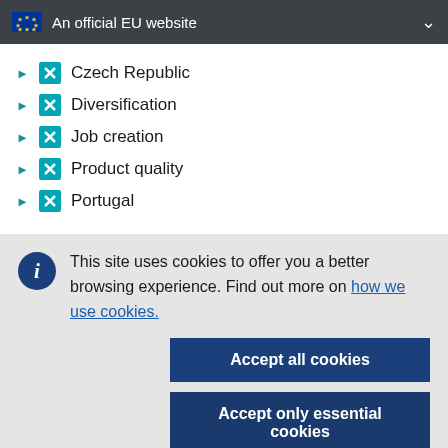An official EU website
Czech Republic
Diversification
Job creation
Product quality
Portugal
This site uses cookies to offer you a better browsing experience. Find out more on how we use cookies.